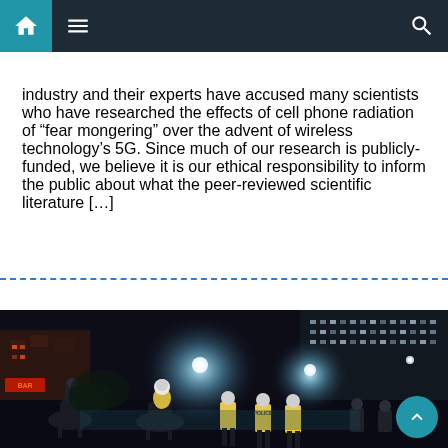Navigation bar with home, menu, and search icons
industry and their experts have accused many scientists who have researched the effects of cell phone radiation of “fear mongering” over the advent of wireless technology’s 5G. Since much of our research is publicly-funded, we believe it is our ethical responsibility to inform the public about what the peer-reviewed scientific literature […]
[Figure (photo): Night scene showing riot police on horses and on foot in a city street at night, with bright lights and tall buildings in the background.]